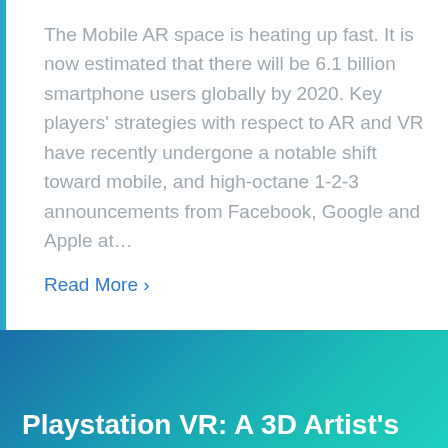The Mobile AR space is heating up fast. It is now estimated that there will be 6.1 billion smartphone users globally by 2020. Key players' strategies with respect to AR and VR have recently undergone a notable shift toward mobile, and high-octane 1-2-3 announcements from Facebook, Google and Apple at… Read More ›
Playstation VR: A 3D Artist's Perspective